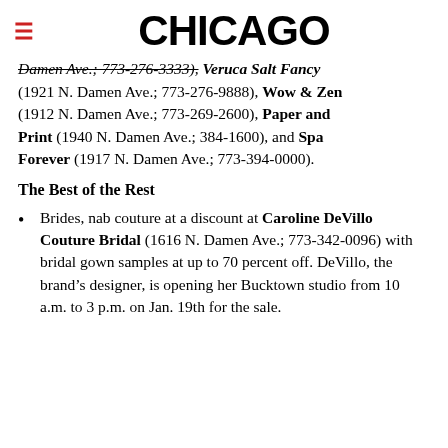CHICAGO
Damen Ave.; 773-276-3333), Veruca Salt Fancy (1921 N. Damen Ave.; 773-276-9888), Wow & Zen (1912 N. Damen Ave.; 773-269-2600), Paper and Print (1940 N. Damen Ave.; 384-1600), and Spa Forever (1917 N. Damen Ave.; 773-394-0000).
The Best of the Rest
Brides, nab couture at a discount at Caroline DeVillo Couture Bridal (1616 N. Damen Ave.; 773-342-0096) with bridal gown samples at up to 70 percent off. DeVillo, the brand's designer, is opening her Bucktown studio from 10 a.m. to 3 p.m. on Jan. 19th for the sale.